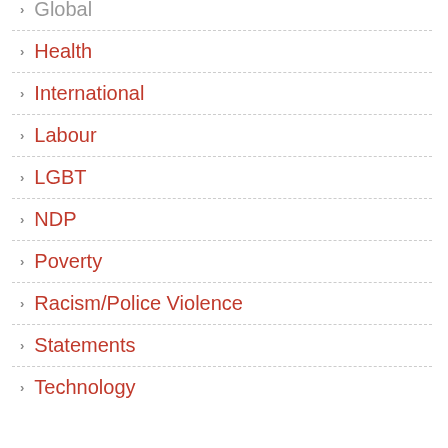Global
Health
International
Labour
LGBT
NDP
Poverty
Racism/Police Violence
Statements
Technology